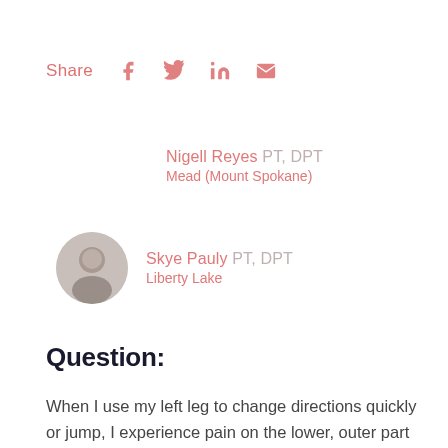Share
[Figure (infographic): Social share icons: Facebook, Twitter, LinkedIn, Email in salmon/pink color]
Nigell Reyes PT, DPT
Mead (Mount Spokane)
[Figure (photo): Circular avatar photo of Skye Pauly, grayscale]
Skye Pauly PT, DPT
Liberty Lake
Question:
When I use my left leg to change directions quickly or jump, I experience pain on the lower, outer part and middle of my knee where my patellar tendon meets my shin. I stayed off of it and iced for a few weeks and there was no change. I have also tried MANY different